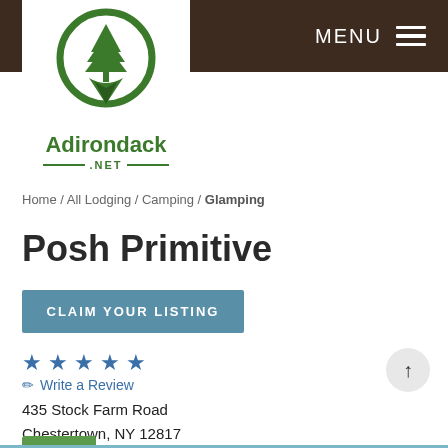MENU
[Figure (logo): Adirondack.NET logo with green map pin containing a tree icon, text 'Adirondack' in bold green and '.NET' below with decorative lines]
Home / All Lodging / Camping / Glamping
Posh Primitive
CLAIM YOUR LISTING
★★★★★ Write a Review
435 Stock Farm Road
Chestertown, NY 12817
Call